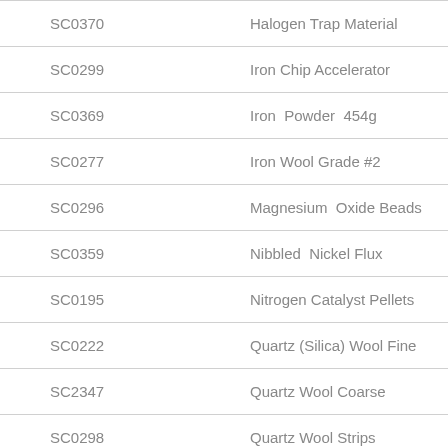| Code | Name |
| --- | --- |
| SC0370 | Halogen Trap Material |
| SC0299 | Iron Chip Accelerator |
| SC0369 | Iron  Powder  454g |
| SC0277 | Iron Wool Grade #2 |
| SC0296 | Magnesium  Oxide Beads |
| SC0359 | Nibbled  Nickel Flux |
| SC0195 | Nitrogen Catalyst Pellets |
| SC0222 | Quartz (Silica) Wool Fine |
| SC2347 | Quartz Wool Coarse |
| SC0298 | Quartz Wool Strips |